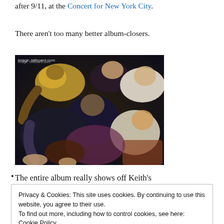after 9/11, at the Concert for New York City.
There aren't too many better album-closers.
[Figure (photo): A vintage photo of a rock band (Rolling Stones era) lying/posing together in colorful 1960s attire against a dark background. Image credit: image: billboard.com]
The entire album really shows off Keith's
Privacy & Cookies: This site uses cookies. By continuing to use this website, you agree to their use.
To find out more, including how to control cookies, see here: Cookie Policy
Rolling Stones. Let's not forget Beggars